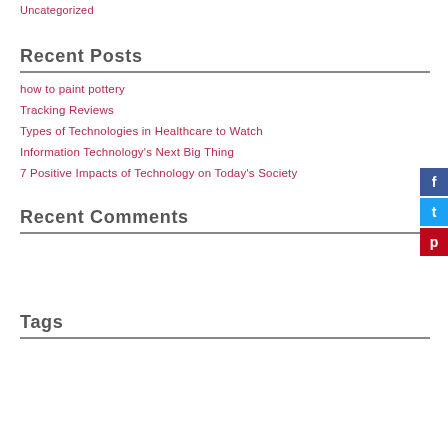Uncategorized
Recent Posts
how to paint pottery
Tracking Reviews
Types of Technologies in Healthcare to Watch
Information Technology's Next Big Thing
7 Positive Impacts of Technology on Today's Society
Recent Comments
Tags